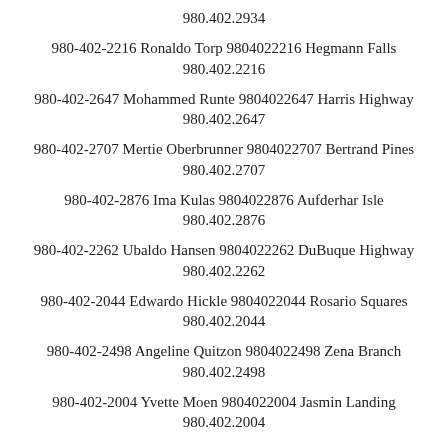980.402.2934
980-402-2216 Ronaldo Torp 9804022216 Hegmann Falls 980.402.2216
980-402-2647 Mohammed Runte 9804022647 Harris Highway 980.402.2647
980-402-2707 Mertie Oberbrunner 9804022707 Bertrand Pines 980.402.2707
980-402-2876 Ima Kulas 9804022876 Aufderhar Isle 980.402.2876
980-402-2262 Ubaldo Hansen 9804022262 DuBuque Highway 980.402.2262
980-402-2044 Edwardo Hickle 9804022044 Rosario Squares 980.402.2044
980-402-2498 Angeline Quitzon 9804022498 Zena Branch 980.402.2498
980-402-2004 Yvette Moen 9804022004 Jasmin Landing 980.402.2004